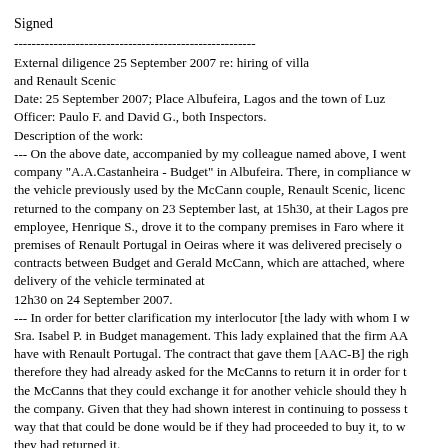Signed
-------------------------------------------------------
External diligence 25 September 2007 re: hiring of villa and Renault Scenic
Date: 25 September 2007; Place Albufeira, Lagos and the town of Luz
Officer: Paulo F. and David G., both Inspectors.
Description of the work:
--- On the above date, accompanied by my colleague named above, I went to the company "A.A.Castanheira - Budget" in Albufeira. There, in compliance w... the vehicle previously used by the McCann couple, Renault Scenic, licenc... returned to the company on 23 September last, at 15h30, at their Lagos pre... employee, Henrique S., drove it to the company premises in Faro where it ... premises of Renault Portugal in Oeiras where it was delivered precisely o... contracts between Budget and Gerald McCann, which are attached, where ... delivery of the vehicle terminated at
12h30 on 24 September 2007.
--- In order for better clarification my interlocutor [the lady with whom I w... Sra. Isabel P. in Budget management. This lady explained that the firm AA... have with Renault Portugal. The contract that gave them [AAC-B] the righ... therefore they had already asked for the McCanns to return it in order for t... the McCanns that they could exchange it for another vehicle should they h... the company. Given that they had shown interest in continuing to possess t... way that that could be done would be if they had proceeded to buy it, to w... they had returned it.
--- Afterwards, also under superior determination, we proceeded the work ... property that the McCanns had recently inhabited at Rua das Flores ... Luz...
--- We then determined that that address was situated exactly in the area kr...
is Mr Arnold M., a Dutch citizen, contactable by phone on 31653... Howe...